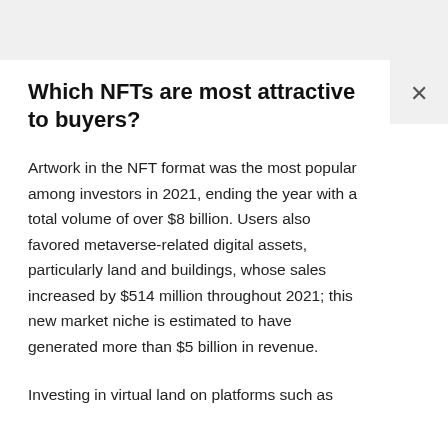Which NFTs are most attractive to buyers?
Artwork in the NFT format was the most popular among investors in 2021, ending the year with a total volume of over $8 billion. Users also favored metaverse-related digital assets, particularly land and buildings, whose sales increased by $514 million throughout 2021; this new market niche is estimated to have generated more than $5 billion in revenue.
Investing in virtual land on platforms such as